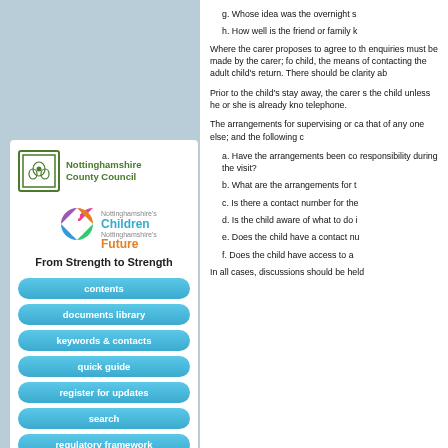[Figure (logo): Nottinghamshire County Council logo with tree emblem and green text]
[Figure (logo): Nottinghamshire's Children Future circular logo with person figure]
From Strength to Strength
contents
documents library
keywords & contacts
quick guide
register for updates
search
regulatory framework
g. Whose idea was the overnight s
h. How well is the friend or family k
Where the carer proposes to agree to th enquiries must be made by the carer; fo child, the means of contacting the adult child's return. There should be clarity ab
Prior to the child's stay away, the carer s the child unless he or she is already kno telephone.
The arrangements for supervising or ca that of any one else; and the following c
a. Have the arrangements been co responsibility during the visit?
b. What are the arrangements for t
c. Is there a contact number for the
d. Is the child aware of what to do i
e. Does the child have a contact nu
f. Does the child have access to a
In all cases, discussions should be held